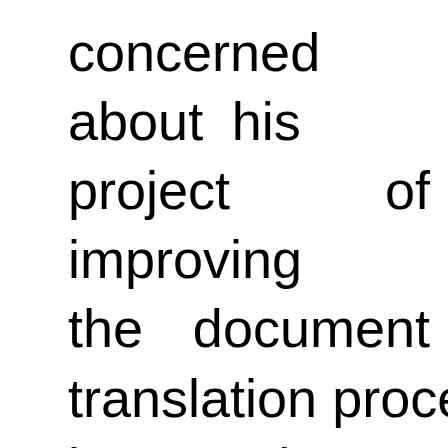concerned about his project of improving the document translation process in the company, Ken needs Desi